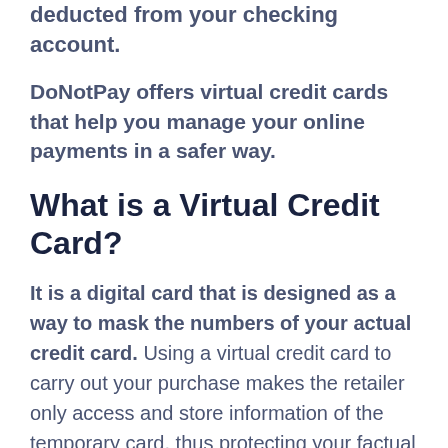deducted from your checking account.
DoNotPay offers virtual credit cards that help you manage your online payments in a safer way.
What is a Virtual Credit Card?
It is a digital card that is designed as a way to mask the numbers of your actual credit card. Using a virtual credit card to carry out your purchase makes the retailer only access and store information of the temporary card, thus protecting your factual card information.
Virtual cards are essential since they add security for